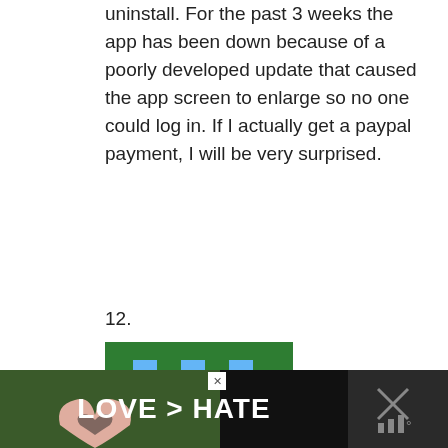uninstall. For the past 3 weeks the app has been down because of a poorly developed update that caused the app screen to enlarge so no one could log in. If I actually get a paypal payment, I will be very surprised.
12.
[Figure (illustration): Green pixel art avatar of a robot/character on green background]
Abdeli on June 29, 2016 at 5:42 pm
Hi,
My Referal code for Wild wallet 2208058.Good Luck
[Figure (illustration): Blue/purple pixel art avatar on dark blue background]
[Figure (other): WHAT'S NEXT panel with Make money with... text and anelP logo]
[Figure (other): Advertisement banner: hands forming heart shape, text LOVE > HATE on dark background]